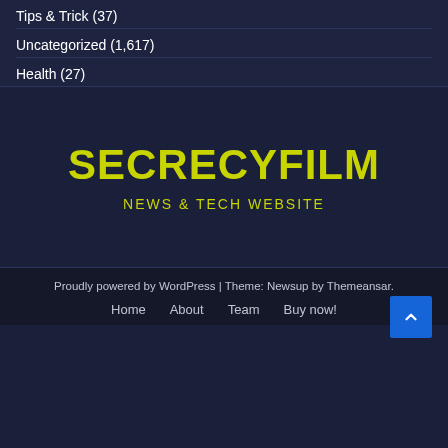Tips & Trick (37)
Uncategorized (1,617)
Health (27)
SECRECYFILM
NEWS & TECH WEBSITE
Proudly powered by WordPress | Theme: Newsup by Themeansar.
Home   About   Team   Buy now!